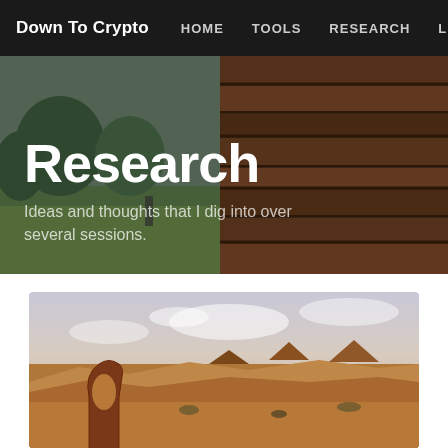Down To Crypto  HOME  TOOLS  RESEARCH  LESS
Research
Ideas and thoughts that I dig into over several sessions.
[Figure (photo): Landscape photo of a desert arch (Delicate Arch) at dusk with red rock formations and cloudy sky]